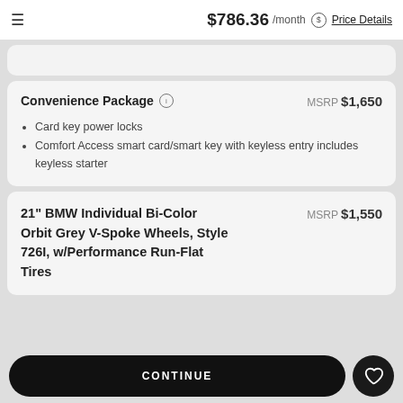≡  $786.36 /month ⓘ Price Details
Convenience Package
MSRP $1,650
Card key power locks
Comfort Access smart card/smart key with keyless entry includes keyless starter
21" BMW Individual Bi-Color Orbit Grey V-Spoke Wheels, Style 726I, w/Performance Run-Flat Tires
MSRP $1,550
CONTINUE